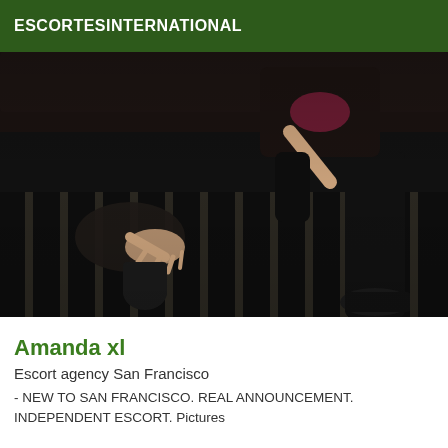ESCORTESINTERNATIONAL
[Figure (photo): A person in black boots and dark clothing posing on a striped dark carpet/rug, photographed from waist down.]
Amanda xl
Escort agency San Francisco
- NEW TO SAN FRANCISCO. REAL ANNOUNCEMENT. INDEPENDENT ESCORT. Pictures